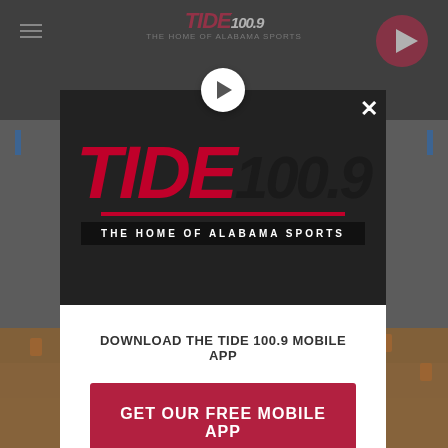[Figure (screenshot): Screenshot of Tide 100.9 website with a modal popup dialog. The background shows the website header with the Tide 100.9 logo and a crowd/stadium photo. A centered modal contains the Tide 100.9 logo (The Home of Alabama Sports), a call-to-action to download the mobile app, a red GET OUR FREE MOBILE APP button, and an 'Also listen on: amazon alexa' section.]
DOWNLOAD THE TIDE 100.9 MOBILE APP
GET OUR FREE MOBILE APP
Also listen on: amazon alexa